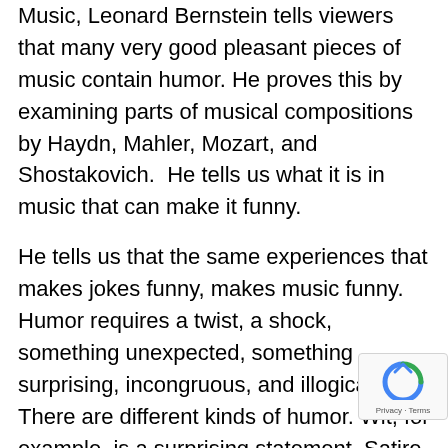Music, Leonard Bernstein tells viewers that many very good pleasant pieces of music contain humor. He proves this by examining parts of musical compositions by Haydn, Mahler, Mozart, and Shostakovich.  He tells us what it is in music that can make it funny.
He tells us that the same experiences that makes jokes funny, makes music funny. Humor requires a twist, a shock, something unexpected, something surprising, incongruous, and illogical. There are different kinds of humor. Wit, for example, is a surprising statement. Satire is making fun of something or someone, but unlike wit, it does not introduce anything new. Parody caricatures something simply for the fun of it.